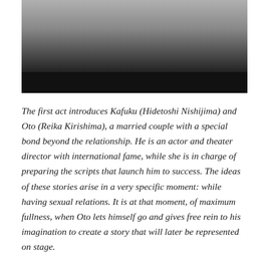[Figure (photo): Partial black and white photograph showing what appears to be feet or shoes on a surface, with a dark black bar at the bottom of the image.]
The first act introduces Kafuku (Hidetoshi Nishijima) and Oto (Reika Kirishima), a married couple with a special bond beyond the relationship. He is an actor and theater director with international fame, while she is in charge of preparing the scripts that launch him to success. The ideas of these stories arise in a very specific moment: while having sexual relations. It is at that moment, of maximum fullness, when Oto lets himself go and gives free rein to his imagination to create a story that will later be represented on stage.